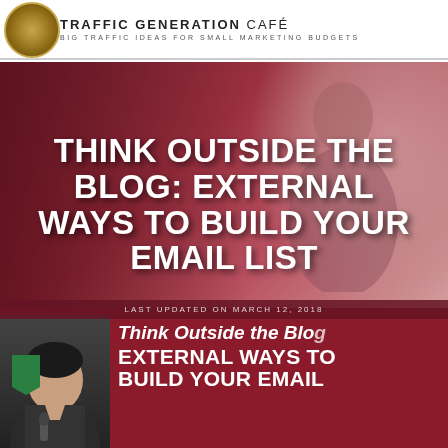TRAFFIC GENERATION | BIG TRAFFIC IDEAS FOR SMALL MARKETING BUDGETS
[Figure (illustration): Dark reddish-maroon background image with silhouette of person, overlaid with large white bold uppercase text: THINK OUTSIDE THE BLOG: EXTERNAL WAYS TO BUILD YOUR EMAIL LIST]
THINK OUTSIDE THE BLOG: EXTERNAL WAYS TO BUILD YOUR EMAIL LIST
[Figure (illustration): Bottom podcast card with dark background showing a man's photo on left, green badge, and overlapping text: Think Outside the Blo... EXTERNAL WAYS TO BUILD YOUR EMAIL]
Think Outside the Blo
EXTERNAL WAYS TO BUILD YOUR EMAIL
LAST UPDATED ON MARCH 12, 2018